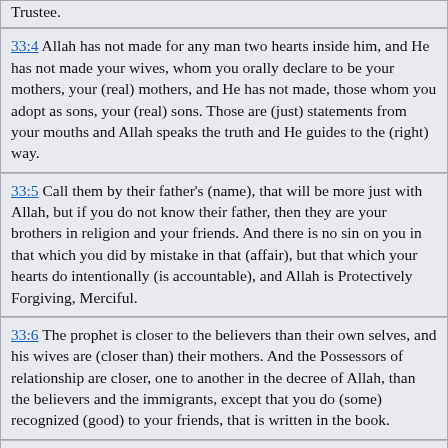Trustee.
33:4  Allah has not made for any man two hearts inside him, and He has not made your wives, whom you orally declare to be your mothers, your (real) mothers, and He has not made, those whom you adopt as sons, your (real) sons. Those are (just) statements from your mouths and Allah speaks the truth and He guides to the (right) way.
33:5  Call them by their father's (name), that will be more just with Allah, but if you do not know their father, then they are your brothers in religion and your friends. And there is no sin on you in that which you did by mistake in that (affair), but that which your hearts do intentionally (is accountable), and Allah is Protectively Forgiving, Merciful.
33:6  The prophet is closer to the believers than their own selves, and his wives are (closer than) their mothers. And the Possessors of relationship are closer, one to another in the decree of Allah, than the believers and the immigrants, except that you do (some) recognized (good) to your friends, that is written in the book.
33:7  And when We took their pledge from the prophets and from you and from Nuh and Ibrahim and Musa and Isa the son of Maryam and We took a firm pledge from them,
33:8  that He may ask the truthful about their truth; and He has prepared a painful punishment for the infidels.